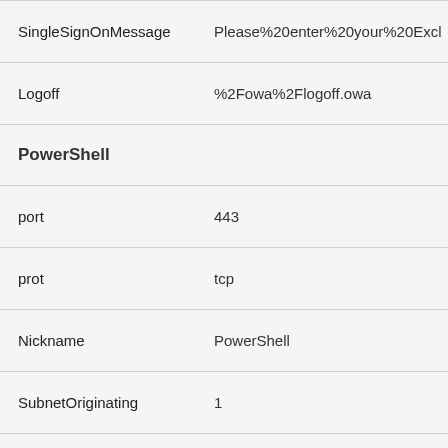| Property | Value |
| --- | --- |
| SingleSignOnMessage | Please%20enter%20your%20Excl |
| Logoff | %2Fowa%2Flogoff.owa |
| PowerShell |  |
| port | 443 |
| prot | tcp |
| Nickname | PowerShell |
| SubnetOriginating | 1 |
| Requ... | Use... |